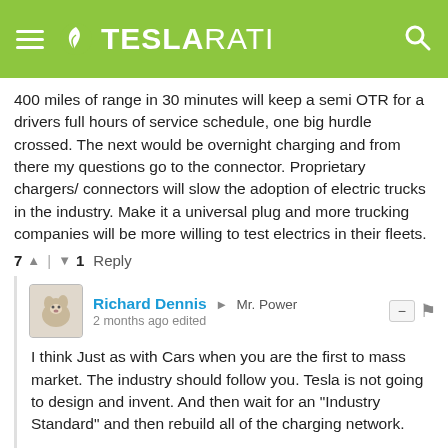TESLARATI
400 miles of range in 30 minutes will keep a semi OTR for a drivers full hours of service schedule, one big hurdle crossed. The next would be overnight charging and from there my questions go to the connector. Proprietary chargers/ connectors will slow the adoption of electric trucks in the industry. Make it a universal plug and more trucking companies will be more willing to test electrics in their fleets.
7 ▲ | ▼ 1   Reply
Richard Dennis → Mr. Power
2 months ago edited
I think Just as with Cars when you are the first to mass market. The industry should follow you. Tesla is not going to design and invent. And then wait for an "Industry Standard" and then rebuild all of the charging network.
Tesla already has the largest charging network in